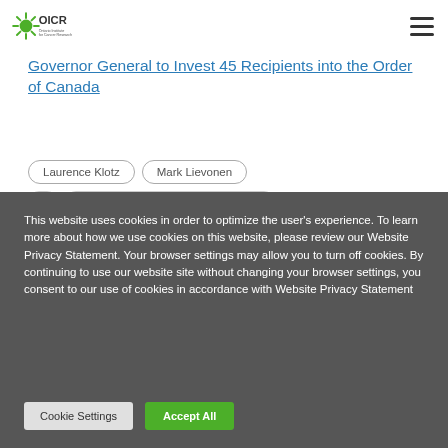OICR — Ontario Institute for Cancer Research
Governor General to Invest 45 Recipients into the Order of Canada
Laurence Klotz
Mark Lievonen
This website uses cookies in order to optimize the user's experience. To learn more about how we use cookies on this website, please review our Website Privacy Statement. Your browser settings may allow you to turn off cookies. By continuing to use our website site without changing your browser settings, you consent to our use of cookies in accordance with Website Privacy Statement
Cookie Settings
Accept All